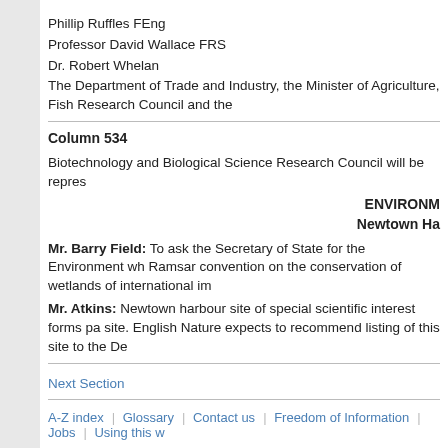Phillip Ruffles FEng
Professor David Wallace FRS
Dr. Robert Whelan
The Department of Trade and Industry, the Minister of Agriculture, Fish Research Council and the
Column 534
Biotechnology and Biological Science Research Council will be repres
ENVIRONM
Newtown Ha
Mr. Barry Field: To ask the Secretary of State for the Environment wh Ramsar convention on the conservation of wetlands of international im
Mr. Atkins: Newtown harbour site of special scientific interest forms pa site. English Nature expects to recommend listing of this site to the De
Next Section
A-Z index | Glossary | Contact us | Freedom of Information | Jobs | Using this w